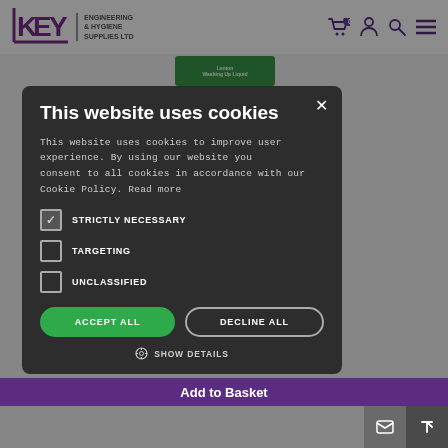KEY ENGINEERING & HYGIENE SUPPLIES LTD
[Figure (screenshot): Cookie consent modal overlay on Key Engineering & Hygiene Supplies Ltd website. Modal has dark background with title 'This website uses cookies', body text, three checkboxes (Strictly Necessary checked, Targeting unchecked, Unclassified unchecked), Accept All and Decline All buttons, and Show Details option.]
This website uses cookies
This website uses cookies to improve user experience. By using our website you consent to all cookies in accordance with our Cookie Policy. Read more
STRICTLY NECESSARY
TARGETING
UNCLASSIFIED
ACCEPT ALL
DECLINE ALL
SHOW DETAILS
Add to Basket